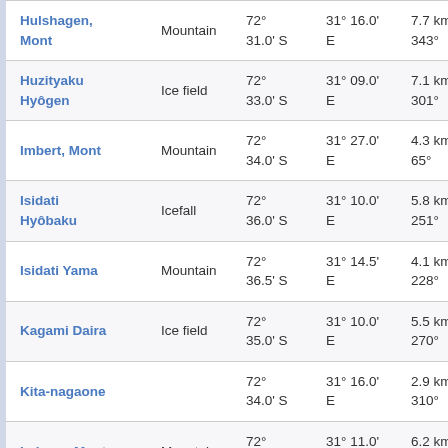| Name | Type | Latitude | Longitude | Distance |
| --- | --- | --- | --- | --- |
| Hulshagen, Mont | Mountain | 72° 31.0' S | 31° 16.0' E | 7.7 km 343° |
| Huzityaku Hyôgen | Ice field | 72° 33.0' S | 31° 09.0' E | 7.1 km 301° |
| Imbert, Mont | Mountain | 72° 34.0' S | 31° 27.0' E | 4.3 km 65° |
| Isidati Hyôbaku | Icefall | 72° 36.0' S | 31° 10.0' E | 5.8 km 251° |
| Isidati Yama | Mountain | 72° 36.5' S | 31° 14.5' E | 4.1 km 228° |
| Kagami Daira | Ice field | 72° 35.0' S | 31° 10.0' E | 5.5 km 270° |
| Kita-nagaone |  | 72° 34.0' S | 31° 16.0' E | 2.9 km 310° |
| Lahaye, Monts | Mountain | 72° 37.0' S | 31° 11.0' E | 6.2 km 233° |